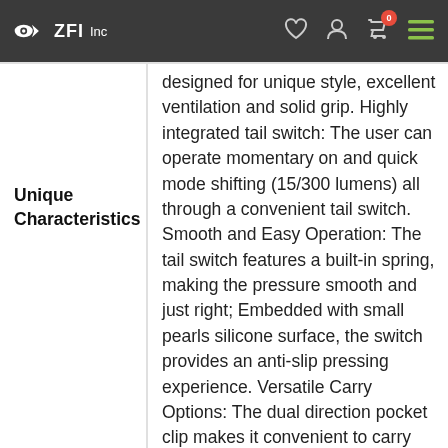ZFI Inc — navigation header with logo, wishlist, account, cart (0), and menu icons
Unique Characteristics
designed for unique style, excellent ventilation and solid grip. Highly integrated tail switch: The user can operate momentary on and quick mode shifting (15/300 lumens) all through a convenient tail switch. Smooth and Easy Operation: The tail switch features a built-in spring, making the pressure smooth and just right; Embedded with small pearls silicone surface, the switch provides an anti-slip pressing experience. Versatile Carry Options: The dual direction pocket clip makes it convenient to carry the flashlight in a pocket or attach to a hat brim or backpack strap for hands-free experience. With a